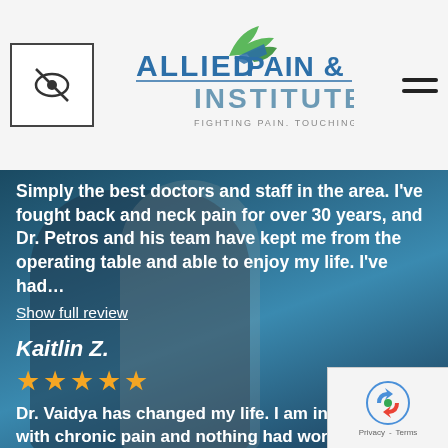Allied Pain & Spine Institute - Fighting Pain. Touching Lives.
Simply the best doctors and staff in the area. I've fought back and neck pain for over 30 years, and Dr. Petros and his team have kept me from the operating table and able to enjoy my life. I've had...
Show full review
Kaitlin Z.
★★★★★
Dr. Vaidya has changed my life. I am in my late 20s with chronic pain and nothing had worked until I came here. All services here are wonderful and the staff is absolutely amazing. I can't recommend
Show full review